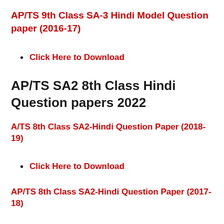AP/TS 9th Class SA-3 Hindi Model Question paper (2016-17)
Click Here to Download
AP/TS SA2 8th Class Hindi Question papers 2022
A/TS 8th Class SA2-Hindi Question Paper (2018-19)
Click Here to Download
AP/TS 8th Class SA2-Hindi Question Paper (2017-18)